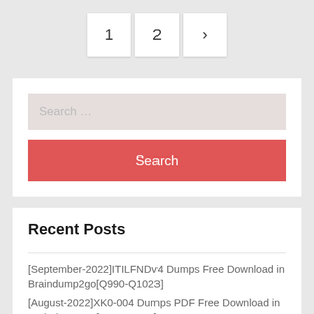1  2  >
[Figure (other): Search widget with text input field showing 'Search ...' placeholder and a red Search button]
Recent Posts
[September-2022]ITILFNDv4 Dumps Free Download in Braindump2go[Q990-Q1023]
[August-2022]XK0-004 Dumps PDF Free Download in Braindump2go[Q385-Q398]